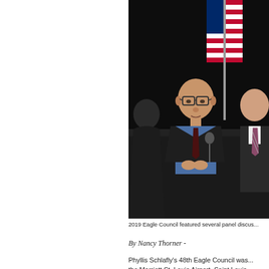[Figure (photo): Photo of a panel discussion at the 2019 Eagle Council. Two men in dark suits sit at a draped table. The man on the left wears glasses and a blue shirt with a dark tie, speaking into a microphone. An American flag is visible in the background against a dark curtain.]
2019 Eagle Council featured several panel discus...
By Nancy Thorner -
Phyllis Schlafly's 48th Eagle Council was... the Marriott St. Louis Airport, Saint Louis... conference for supporters of Phyllis Schi...